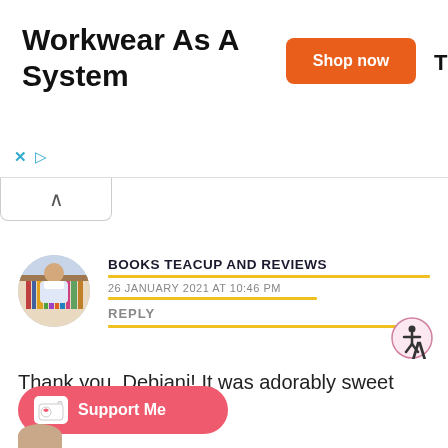[Figure (screenshot): Advertisement banner for Truewerk workwear with orange 'Shop now' button and brand logo]
Workwear As A System
BOOKS TEACUP AND REVIEWS
26 JANUARY 2021 AT 10:46 PM
REPLY
Thank you, Debjani! It was adorably sweet and fun to read.
Loading...
[Figure (infographic): Support Me button (Ko-fi style) with heart icon on pink/red pill-shaped button]